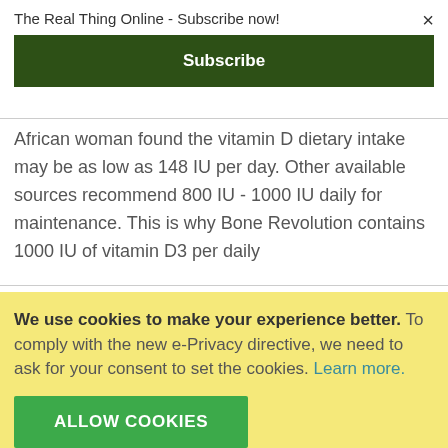The Real Thing Online - Subscribe now!
×
Subscribe
African woman found the vitamin D dietary intake may be as low as 148 IU per day. Other available sources recommend 800 IU - 1000 IU daily for maintenance. This is why Bone Revolution contains 1000 IU of vitamin D3 per daily
We use cookies to make your experience better. To comply with the new e-Privacy directive, we need to ask for your consent to set the cookies. Learn more.
ALLOW COOKIES